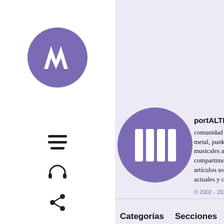[Figure (logo): Purple circle logo with stylized 'M' letters in white, top-left sidebar]
[Figure (logo): Purple circle with four white vertical bars icon, portALTERNATIVA site logo]
portALTERNATI... comunidad de fan... metal, punk y otro... musicales afines. 19 años y 5 meses... compartimos nove... artículos sobre ba... actuales y clásicas...
© 2002 - 2022 / AVISO... POWERED BY WORDPR... THEME
Categorías
Secciones